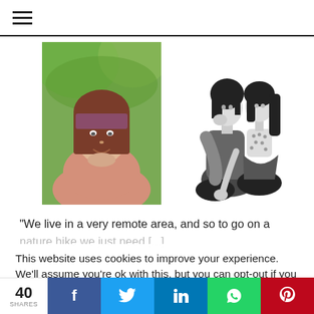☰ (hamburger menu)
[Figure (photo): Portrait photo of a woman with brown hair and bangs, smiling, wearing a pink blouse, outdoors with green trees in background.]
[Figure (illustration): Black and white illustration of two people hugging — an adult and a child sitting together.]
“We live in a very remote area, and so to go on a nature hike we just need [...]
This website uses cookies to improve your experience. We'll assume you're ok with this, but you can opt-out if you wish.
40 SHARES | Facebook | Twitter | LinkedIn | WhatsApp | Pinterest